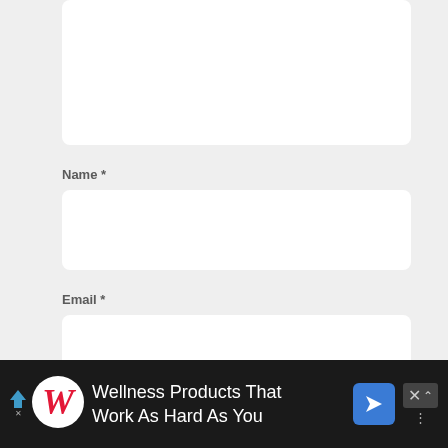Name *
Email *
Website *
[Figure (screenshot): Advertisement banner: Walgreens 'Wellness Products That Work As Hard As You' ad on dark background with navigation arrow icon and close button]